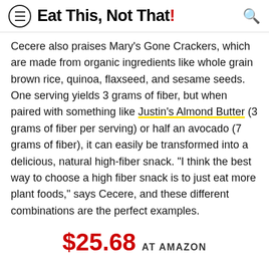Eat This, Not That!
Cecere also praises Mary's Gone Crackers, which are made from organic ingredients like whole grain brown rice, quinoa, flaxseed, and sesame seeds. One serving yields 3 grams of fiber, but when paired with something like Justin's Almond Butter (3 grams of fiber per serving) or half an avocado (7 grams of fiber), it can easily be transformed into a delicious, natural high-fiber snack. "I think the best way to choose a high fiber snack is to just eat more plant foods," says Cecere, and these different combinations are the perfect examples.
$25.68 AT AMAZON